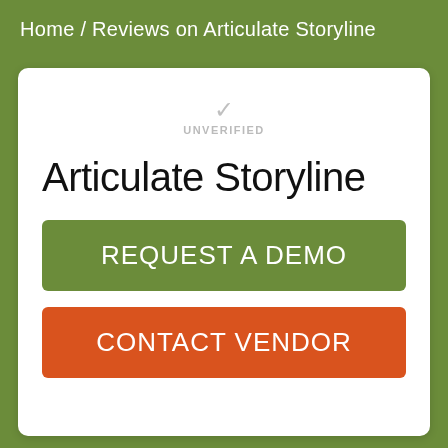Home / Reviews on Articulate Storyline
UNVERIFIED
Articulate Storyline
REQUEST A DEMO
CONTACT VENDOR